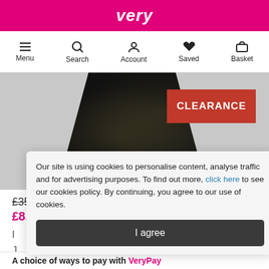very
[Figure (screenshot): Navigation bar with Menu, Search, Account, Saved, Basket icons]
[Figure (photo): Black sparkly dress product photo with red CLEARANCE badge in top right corner]
£35
£8.75 (Save £26.25)
Our site is using cookies to personalise content, analyse traffic and for advertising purposes. To find out more, click here to see our cookies policy. By continuing, you agree to our use of cookies.
I agree
A choice of ways to pay with VeryPay